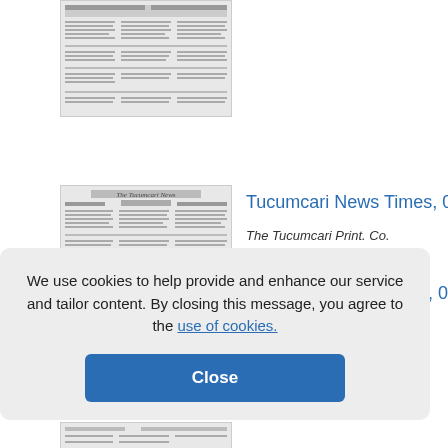[Figure (screenshot): Partial thumbnail of a historical newspaper page, cropped at top]
[Figure (screenshot): Thumbnail of Tucumcari News Times historical newspaper front page]
Tucumcari News Times, 04
The Tucumcari Print. Co.
We use cookies to help provide and enhance our service and tailor content. By closing this message, you agree to the use of cookies.
Close
imes, 04
[Figure (screenshot): Partial thumbnail of another newspaper page at bottom, partially visible]